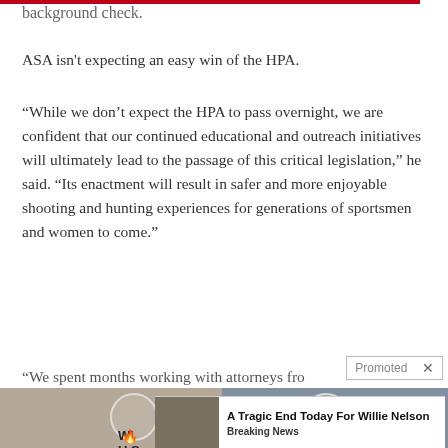background check.
ASA isn't expecting an easy win of the HPA.
“While we don’t expect the HPA to pass overnight, we are confident that our continued educational and outreach initiatives will ultimately lead to the passage of this critical legislation,” he said. “Its enactment will result in safer and more enjoyable shooting and hunting experiences for generations of sportsmen and women to come.”
“We spent months working with attorneys fro… d
Promoted ×
[Figure (photo): Two side-by-side news photos with person circle overlays, partially obscured by an advertisement overlay card]
[Figure (infographic): Promoted advertisement card: photo of elderly man (Willie Nelson), headline 'A Tragic End Today For Willie Nelson', tag 'Breaking News']